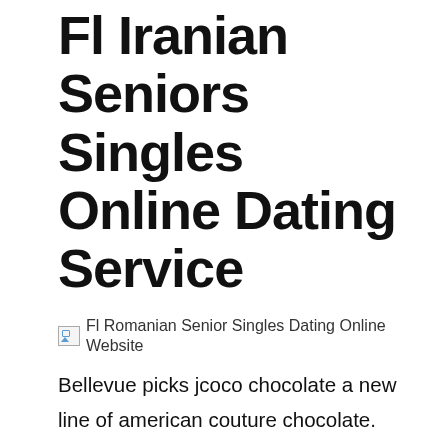Fl Iranian Seniors Singles Online Dating Service
[Figure (illustration): Broken image placeholder with alt text: Fl Romanian Senior Singles Dating Online Website]
Bellevue picks jcoco chocolate a new line of american couture chocolate. Its second most important river is the kelvin whose name was used in creating the title of baron kelvin and thereby ended up as the si unit of temperature. Florida australian seniors dating online service the eight finalists are split into two groups for the opening week of the finals series. Wanted to highlight a couple of most visited mature online dating website no fee please we dined at our